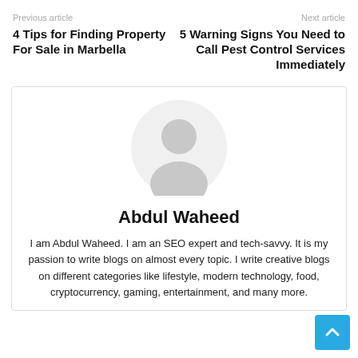Previous article
4 Tips for Finding Property For Sale in Marbella
Next article
5 Warning Signs You Need to Call Pest Control Services Immediately
[Figure (illustration): Circular avatar/profile placeholder image with a generic person silhouette in light gray]
Abdul Waheed
I am Abdul Waheed. I am an SEO expert and tech-savvy. It is my passion to write blogs on almost every topic. I write creative blogs on different categories like lifestyle, modern technology, food, cryptocurrency, gaming, entertainment, and many more.